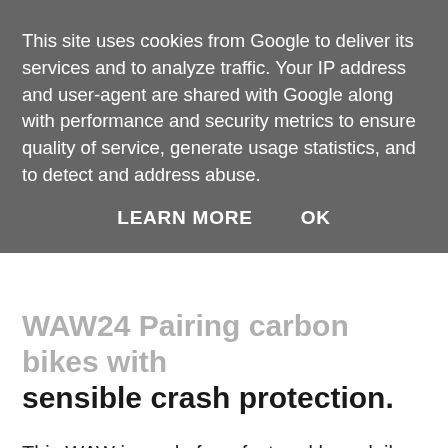This site uses cookies from Google to deliver its services and to analyze traffic. Your IP address and user-agent are shared with Google along with performance and security metrics to ensure quality of service, generate usage statistics, and to detect and address abuse.
LEARN MORE   OK
WAW24 Pairing carbon bikes with sensible crash protection.
This WAW is made for a fast and long daily commute: light where it was possible, tough where needed. Part of the commute is through heavy traffic. The client is an experienced cycle commuter who knows accidents do happen someday if you're on the